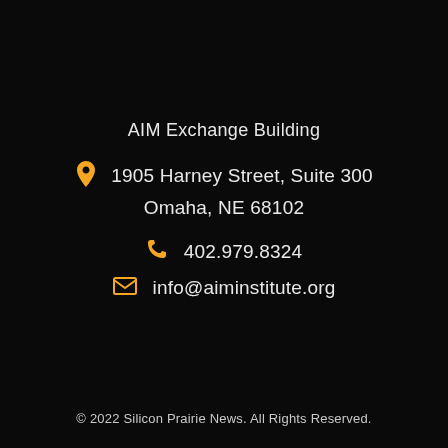AIM Exchange Building
1905 Harney Street, Suite 300
Omaha, NE 68102
402.979.8324
info@aiminstitute.org
© 2022 Silicon Prairie News. All Rights Reserved.